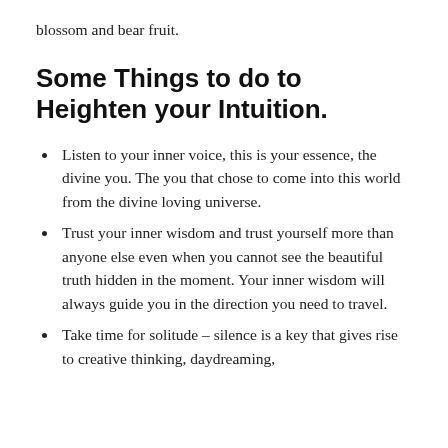blossom and bear fruit.
Some Things to do to Heighten your Intuition.
Listen to your inner voice, this is your essence, the divine you. The you that chose to come into this world from the divine loving universe.
Trust your inner wisdom and trust yourself more than anyone else even when you cannot see the beautiful truth hidden in the moment. Your inner wisdom will always guide you in the direction you need to travel.
Take time for solitude – silence is a key that gives rise to creative thinking, daydreaming,